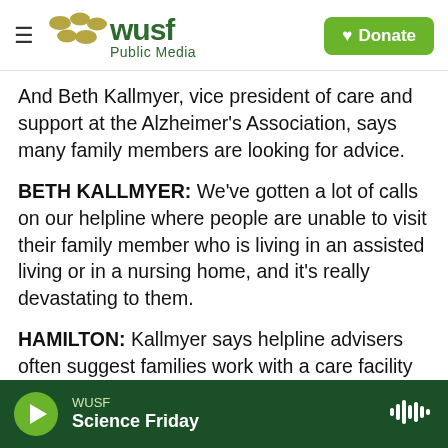WUSF Public Media — Donate
And Beth Kallmyer, vice president of care and support at the Alzheimer's Association, says many family members are looking for advice.
BETH KALLMYER: We've gotten a lot of calls on our helpline where people are unable to visit their family member who is living in an assisted living or in a nursing home, and it's really devastating to them.
HAMILTON: Kallmyer says helpline advisers often suggest families work with a care facility to find new ways of communicating with a resident.
WUSF — Science Friday